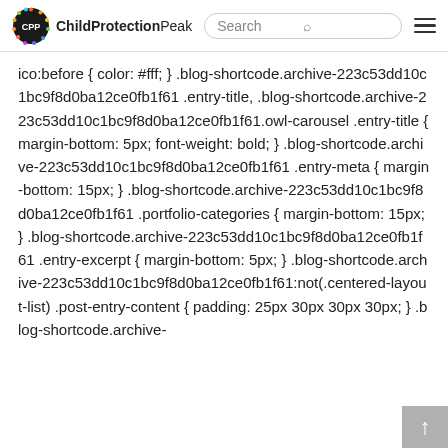ChildProtectionPeak Search
ico:before { color: #fff; } .blog-shortcode.archive-223c53dd10c1bc9f8d0ba12ce0fb1f61 .entry-title, .blog-shortcode.archive-223c53dd10c1bc9f8d0ba12ce0fb1f61.owl-carousel .entry-title { margin-bottom: 5px; font-weight: bold; } .blog-shortcode.archive-223c53dd10c1bc9f8d0ba12ce0fb1f61 .entry-meta { margin-bottom: 15px; } .blog-shortcode.archive-223c53dd10c1bc9f8d0ba12ce0fb1f61 .portfolio-categories { margin-bottom: 15px; } .blog-shortcode.archive-223c53dd10c1bc9f8d0ba12ce0fb1f61 .entry-excerpt { margin-bottom: 5px; } .blog-shortcode.archive-223c53dd10c1bc9f8d0ba12ce0fb1f61:not(.centered-layout-list) .post-entry-content { padding: 25px 30px 30px 30px; } .blog-shortcode.archive-